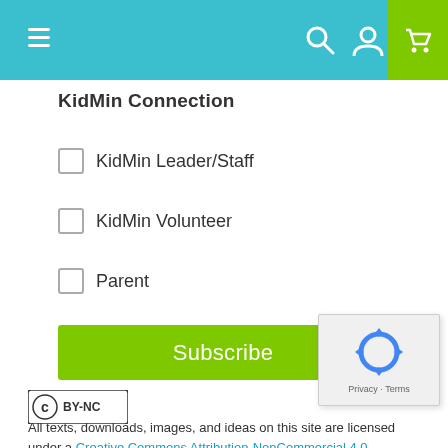KidMin Connection - navigation bar with menu, search, user, and cart icons
KidMin Connection
KidMin Leader/Staff
KidMin Volunteer
Parent
Subscribe
[Figure (other): reCAPTCHA widget with recycling arrows logo and Privacy - Terms text]
[Figure (logo): Creative Commons BY-NC license badge]
All texts, downloads, images, and ideas on this site are licensed under a Creative Commons Attribution-NonCommercial 4.0 International License.